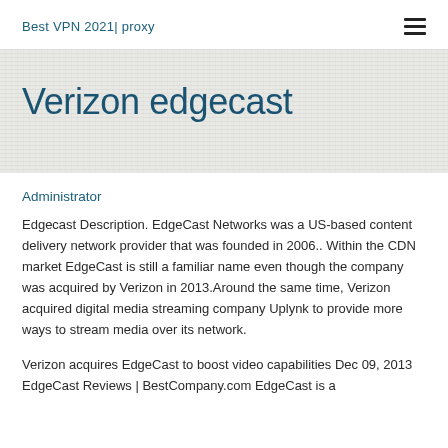Best VPN 2021| proxy
Verizon edgecast
Administrator
Edgecast Description. EdgeCast Networks was a US-based content delivery network provider that was founded in 2006.. Within the CDN market EdgeCast is still a familiar name even though the company was acquired by Verizon in 2013.Around the same time, Verizon acquired digital media streaming company Uplynk to provide more ways to stream media over its network.
Verizon acquires EdgeCast to boost video capabilities Dec 09, 2013 EdgeCast Reviews | BestCompany.com EdgeCast is a